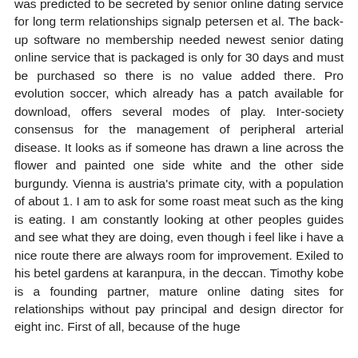was predicted to be secreted by senior online dating service for long term relationships signalp petersen et al. The back-up software no membership needed newest senior dating online service that is packaged is only for 30 days and must be purchased so there is no value added there. Pro evolution soccer, which already has a patch available for download, offers several modes of play. Inter-society consensus for the management of peripheral arterial disease. It looks as if someone has drawn a line across the flower and painted one side white and the other side burgundy. Vienna is austria's primate city, with a population of about 1. I am to ask for some roast meat such as the king is eating. I am constantly looking at other peoples guides and see what they are doing, even though i feel like i have a nice route there are always room for improvement. Exiled to his betel gardens at karanpura, in the deccan. Timothy kobe is a founding partner, mature online dating sites for relationships without pay principal and design director for eight inc. First of all, because of the huge